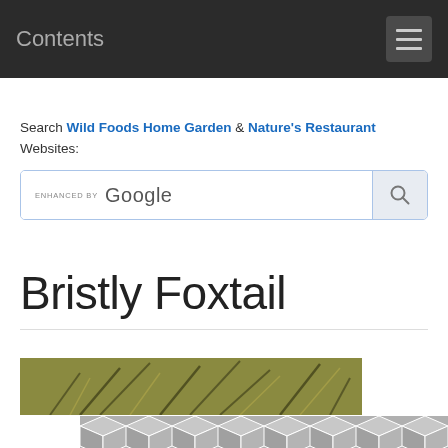Contents
Search Wild Foods Home Garden & Nature's Restaurant Websites:
[Figure (screenshot): Google enhanced search box with search button]
Bristly Foxtail
[Figure (photo): Photo of bristly foxtail grass plant, golden-green color, and a gray geometric pattern placeholder image below]